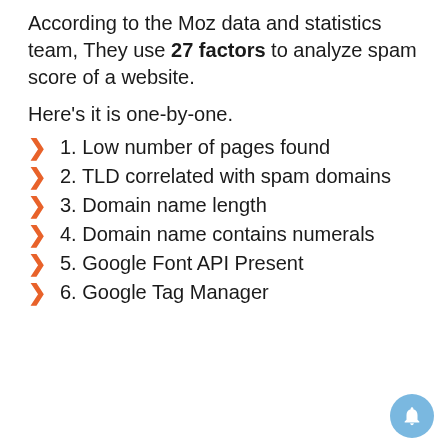According to the Moz data and statistics team, They use 27 factors to analyze spam score of a website.
Here's it is one-by-one.
1. Low number of pages found
2. TLD correlated with spam domains
3. Domain name length
4. Domain name contains numerals
5. Google Font API Present
6. Google Tag Manager